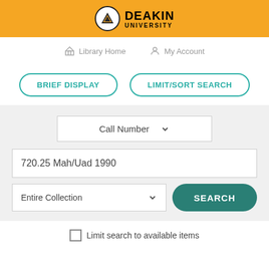[Figure (logo): Deakin University logo with orange header bar, circular shield emblem and black text reading DEAKIN UNIVERSITY]
Library Home   My Account
BRIEF DISPLAY   LIMIT/SORT SEARCH
Call Number
720.25 Mah/Uad 1990
Entire Collection
SEARCH
Limit search to available items